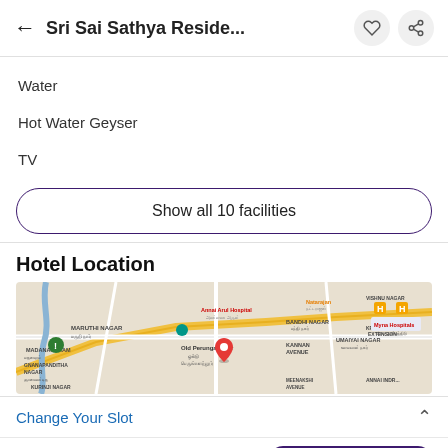Sri Sai Sathya Reside...
Water
Hot Water Geyser
TV
Show all 10 facilities
Hotel Location
[Figure (map): Map showing Old Perungalathur and surrounding areas including Maruthi Nagar, Madanapuram, Gnanapanditha Nagar, Kurinji Nagar, Bandhi Nagar, Kannan Avenue, Umaiyai Nagar, Krishna Nagar Extension, Annai Arul Hospital, Myna Hospitals, and Natarajan area. A red location pin marks Old Perungalathur.]
Change Your Slot
3 Hour
₹1007  ₹1699
BOOK NOW